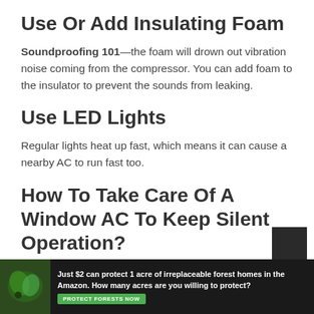Use Or Add Insulating Foam
Soundproofing 101—the foam will drown out vibration noise coming from the compressor. You can add foam to the insulator to prevent the sounds from leaking.
Use LED Lights
Regular lights heat up fast, which means it can cause a nearby AC to run fast too.
How To Take Care Of A Window AC To Keep Silent Operation?
[Figure (infographic): Advertisement banner: Just $2 can protect 1 acre of irreplaceable forest homes in the Amazon. How many acres are you willing to protect? With a green Protect Forests Now button and a nature background image.]